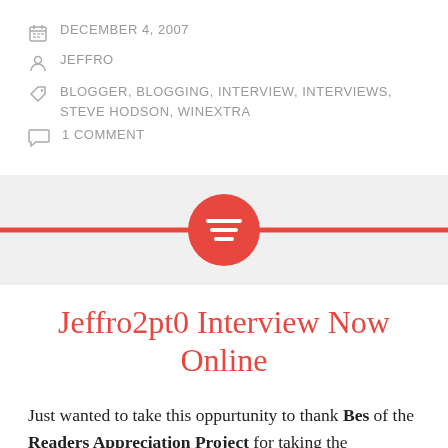DECEMBER 4, 2007
JEFFRO
BLOGGER, BLOGGING, INTERVIEW, INTERVIEWS, STEVE HODSON, WINEXTRA
1 COMMENT
[Figure (illustration): Red horizontal divider bar with a red circle containing a text/list icon centered on it, on a light gray background]
Jeffro2pt0 Interview Now Online
Just wanted to take this oppurtunity to thank Bes of the Readers Appreciation Project for taking the